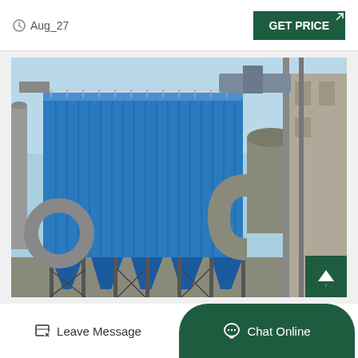Aug_27
GET PRICE
[Figure (photo): Industrial dust collector / bag filter unit with blue corrugated metal panels and conical hoppers at the bottom, mounted on a steel frame structure with large ductwork and pipes visible on the right side, at an industrial plant site.]
Leave Message
Chat Online